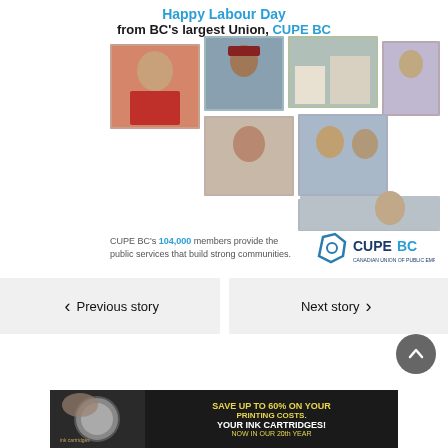Happy Labour Day from BC's largest Union, CUPE BC
[Figure (photo): Collage of six photos showing diverse CUPE BC members at work, including a woman in a red top, a man in a cap at a worksite, a woman smiling at a desk, two women side by side, a woman smiling, and an older man with glasses.]
CUPE BC's 104,000 members provide the public services that build strong communities.
[Figure (logo): CUPE BC logo with hexagon icon and blue text reading CUPEBC]
Previous story
Next story
[Figure (infographic): Advertisement banner: Save up to 60% on your printing costs. Your ink cartridges! Now in our 20th year.]